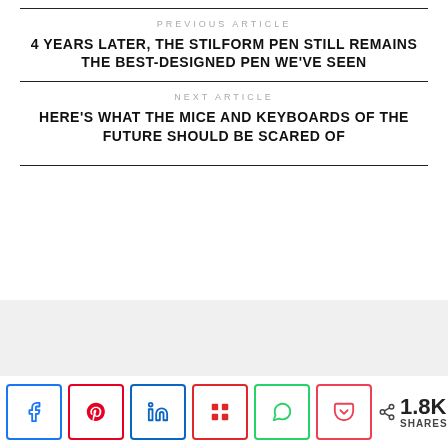PREVIOUS ARTICLE
4 YEARS LATER, THE STILFORM PEN STILL REMAINS THE BEST-DESIGNED PEN WE'VE SEEN
NEXT ARTICLE
HERE'S WHAT THE MICE AND KEYBOARDS OF THE FUTURE SHOULD BE SCARED OF
1.8K SHARES